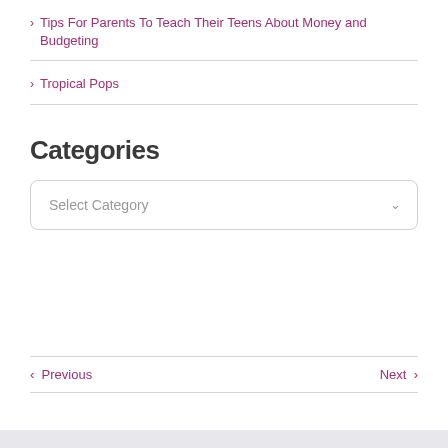Tips For Parents To Teach Their Teens About Money and Budgeting
Tropical Pops
Categories
Select Category
< Previous   Next >